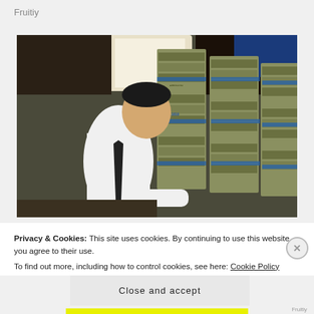Fruitiy
[Figure (photo): A man in a white shirt and dark tie stands next to large stacks of bundled US dollar bills piled high, in what appears to be a bank or financial institution.]
Privacy & Cookies: This site uses cookies. By continuing to use this website, you agree to their use.
To find out more, including how to control cookies, see here: Cookie Policy
Close and accept